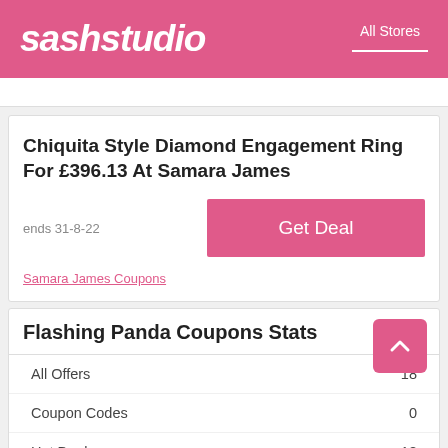sashstudio — All Stores
Chiquita Style Diamond Engagement Ring For £396.13 At Samara James
ends 31-8-22
Get Deal
Samara James Coupons
Flashing Panda Coupons Stats
|  |  |
| --- | --- |
| All Offers | 18 |
| Coupon Codes | 0 |
| Hot Deals | 18 |
| Max Discount | 65% |